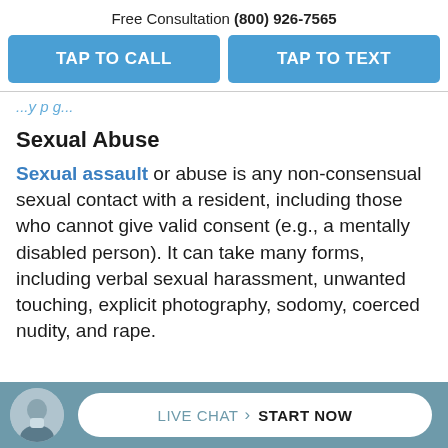Free Consultation (800) 926-7565
TAP TO CALL
TAP TO TEXT
...y p g...
Sexual Abuse
Sexual assault or abuse is any non-consensual sexual contact with a resident, including those who cannot give valid consent (e.g., a mentally disabled person). It can take many forms, including verbal sexual harassment, unwanted touching, explicit photography, sodomy, coerced nudity, and rape.
LIVE CHAT > START NOW